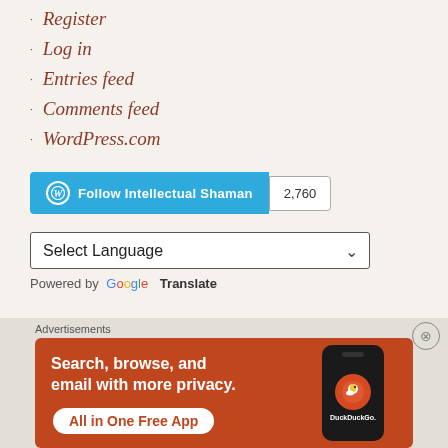Register
Log in
Entries feed
Comments feed
WordPress.com
[Figure (other): Follow Intellectual Shaman button with WordPress logo and follower count of 2,760]
Select Language (dropdown)
Powered by Google Translate
Advertisements
[Figure (other): DuckDuckGo advertisement: Search, browse, and email with more privacy. All in One Free App]